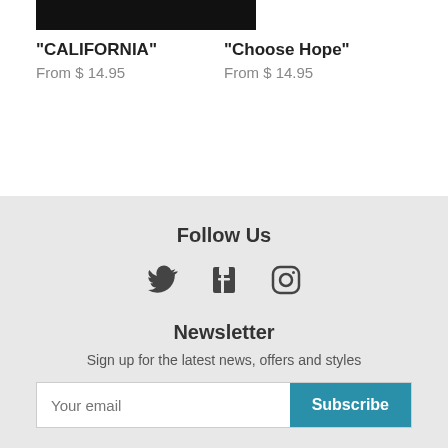[Figure (photo): Black image placeholder for product]
"CALIFORNIA"
From $ 14.95
"Choose Hope"
From $ 14.95
Follow Us | Social icons (Twitter, Facebook, Instagram) | Newsletter | Sign up for the latest news, offers and styles | Your email | Subscribe